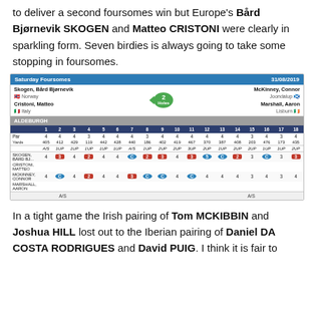to deliver a second foursomes win but Europe's Bård Bjørnevik SKOGEN and Matteo CRISTONI were clearly in sparkling form. Seven birdies is always going to take some stopping in foursomes.
| Saturday Foursomes | 31/08/2019 |
| --- | --- |
| Skogen, Bård Bjørnevik / Norway | 2 Holes | McKinney, Connor / Joondalup |
| Cristoni, Matteo / Italy |  | Marshall, Aaron / Lisburn |
| ALDEBURGH |  |  |
| Hole | 1 | 2 | 3 | 4 | 5 | 6 | 7 | 8 | 9 | 10 | 11 | 12 | 13 | 14 | 15 | 16 | 17 | 18 |
| Par | 4 | 4 | 4 | 3 | 4 | 4 | 4 | 3 | 4 | 4 | 4 | 4 | 4 | 4 | 3 | 4 | 3 | 4 |
| Yards | 405 | 412 | 429 | 119 | 442 | 428 | 440 | 186 | 402 | 419 | 467 | 370 | 387 | 408 | 203 | 476 | 173 | 435 |
|  | A/S | 1UP | 1UP | 1UP | 1UP | 1UP | A/S | 1UP | 2UP | 2UP | 3UP | 2UP | 1UP | 2UP | 2UP | 1UP | 1UP | 2UP |
| SKOGEN, BÅRD BJ... / CRISTONI, MATTEO | 4 | 3 | 4 | 2 | 4 | 4 | C | 2 | 3 | 4 | 3 | 5 | C | 2 | 3 | C | 3 | 3 |
| MCKINNEY, CONNOR / MARSHALL, AARON | 4 | C | 4 | 2 | 4 | 4 | 3 | C | C | 4 | C | 4 | 4 | 4 | 3 | 4 | 3 | 4 |
|  | A/S |  |  |  |  |  | A/S |  |  |  |  |  |  |  |  |  |  |  |
In a tight game the Irish pairing of Tom MCKIBBIN and Joshua HILL lost out to the Iberian pairing of Daniel DA COSTA RODRIGUES and David PUIG. I think it is fair to